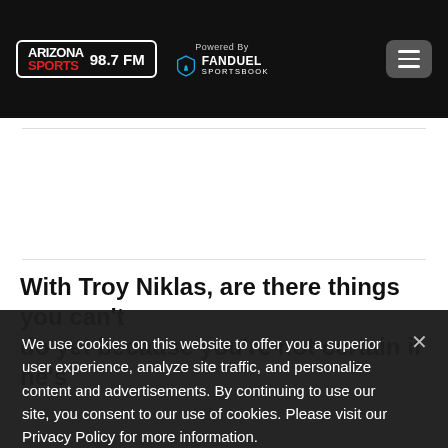Arizona Sports 98.7 FM — Powered By FanDuel Sportsbook
With Troy Niklas, are there things you can't do yet because you're not certain if he's
We use cookies on this website to offer you a superior user experience, analyze site traffic, and personalize content and advertisements. By continuing to use our site, you consent to our use of cookies. Please visit our Privacy Policy for more information.
Accept Cookies